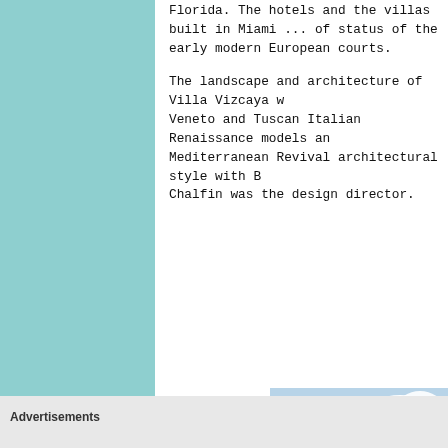Florida. The hotels and the villas built in Miami ... of status of the early modern European courts.
The landscape and architecture of Villa Vizcaya w... Veneto and Tuscan Italian Renaissance models an... Mediterranean Revival architectural style with B... Chalfin was the design director.
[Figure (photo): Outdoor photo of a formal garden with rows of tall trimmed trees and hedges under a partly cloudy blue sky. The garden appears to be at Villa Vizcaya.]
Advertisements